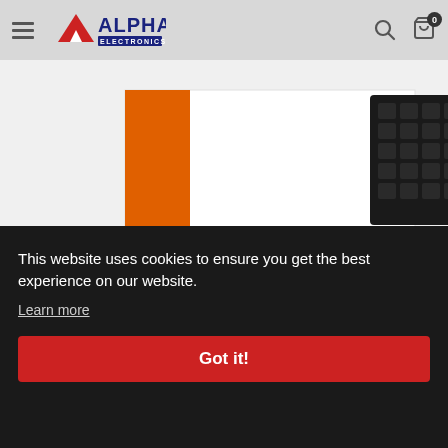Alpha Electronics — navigation header with hamburger menu, logo, search icon, and cart icon showing 0 items
[Figure (photo): Product photo: Seagate Expansion Portable hard drive box — white box with orange stripe on left side and a black textured hard drive visible on right side]
Expansion Portable hard drive
USB 3.0 cable
(partially obscured by cookie banner)
Sp…
This website uses cookies to ensure you get the best experience on our website.
Learn more
Got it!